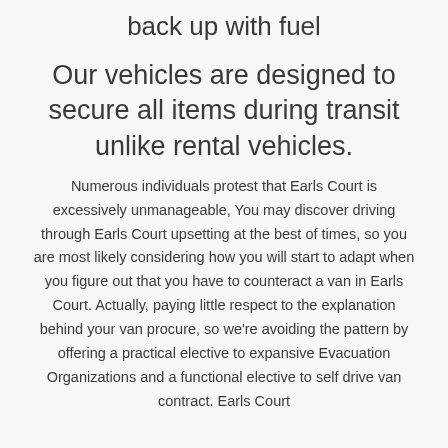back up with fuel
Our vehicles are designed to secure all items during transit unlike rental vehicles.
Numerous individuals protest that Earls Court is excessively unmanageable, You may discover driving through Earls Court upsetting at the best of times, so you are most likely considering how you will start to adapt when you figure out that you have to counteract a van in Earls Court. Actually, paying little respect to the explanation behind your van procure, so we’re avoiding the pattern by offering a practical elective to expansive Evacuation Organizations and a functional elective to self drive van contract. Earls Court